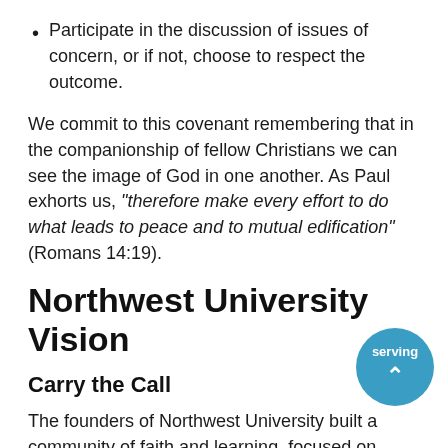Participate in the discussion of issues of concern, or if not, choose to respect the outcome.
We commit to this covenant remembering that in the companionship of fellow Christians we can see the image of God in one another. As Paul exhorts us, “therefore make every effort to do what leads to peace and to mutual edification” (Romans 14:19).
Northwest University Vision
Carry the Call
The founders of Northwest University built a community of faith and learning, focused on serving people who are pursuing God’s call on their lives. We are convinced that God continues to call every